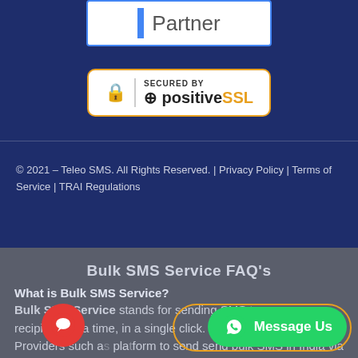[Figure (logo): Partner badge with blue vertical bar and 'Partner' text on white background]
[Figure (logo): Secured by positiveSSL badge with padlock icon on white background with orange border]
© 2021 – Teleo SMS. All Rights Reserved. | Privacy Policy | Terms of Service | TRAI Regulations
Bulk SMS Service FAQ's
What is Bulk SMS Service?
Bulk SMS Service stands for sending SMS to one or more recipients at a time, in a single click. Bulk SMS Service Providers such a platform to send send bulk SMS in India via software/API/web platforms. Transactional SMS